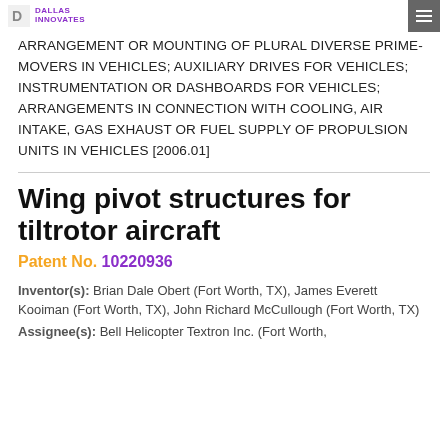DALLAS INNOVATES
ARRANGEMENT OR MOUNTING OF PLURAL DIVERSE PRIME-MOVERS IN VEHICLES; AUXILIARY DRIVES FOR VEHICLES; INSTRUMENTATION OR DASHBOARDS FOR VEHICLES; ARRANGEMENTS IN CONNECTION WITH COOLING, AIR INTAKE, GAS EXHAUST OR FUEL SUPPLY OF PROPULSION UNITS IN VEHICLES [2006.01]
Wing pivot structures for tiltrotor aircraft
Patent No. 10220936
Inventor(s): Brian Dale Obert (Fort Worth, TX), James Everett Kooiman (Fort Worth, TX), John Richard McCullough (Fort Worth, TX)
Assignee(s): Bell Helicopter Textron Inc. (Fort Worth,